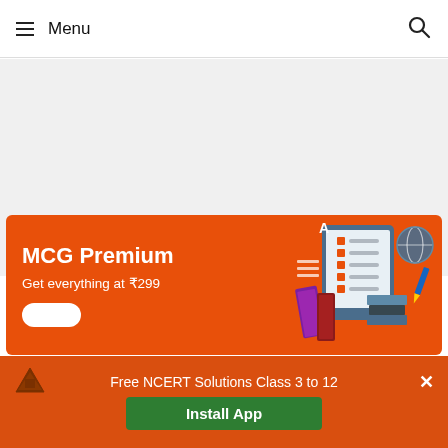≡ Menu
[Figure (illustration): MCG Premium banner with orange background showing tablet, books, and educational icons. Text: MCG Premium, Get everything at ₹299, with a white button.]
Free NCERT Solutions Class 3 to 12 | Install App